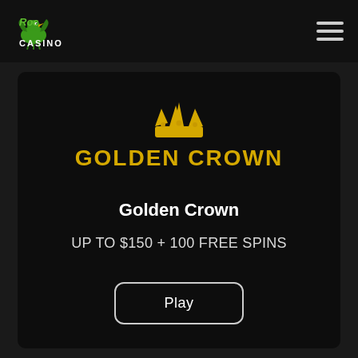[Figure (logo): Roc Casino logo with green bird/dinosaur icon and text 'CASINO' in white]
[Figure (logo): Golden Crown casino logo: gold crown icon above 'GOLDEN CROWN' in gold uppercase letters]
Golden Crown
UP TO $150 + 100 FREE SPINS
Play